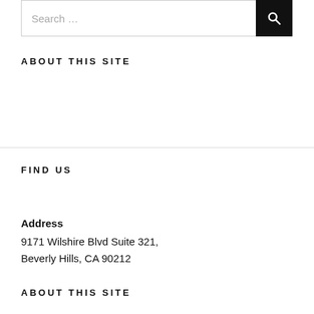[Figure (other): Search bar with text input showing 'Search ...' placeholder and a black search button with magnifying glass icon]
ABOUT THIS SITE
FIND US
Address
9171 Wilshire Blvd Suite 321,
Beverly Hills, CA 90212
ABOUT THIS SITE